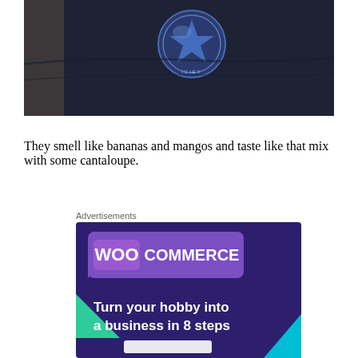[Figure (photo): Close-up photo of a dark navy/black t-shirt with a circular blue badge/logo on it, photographed against a light background]
They smell like bananas and mangos and taste like that mix with some cantaloupe.
Advertisements
[Figure (other): WooCommerce advertisement banner with purple/dark purple background, green and teal triangular shapes, WooCommerce logo in purple speech bubble, and text: Turn your hobby into a business in 8 steps]